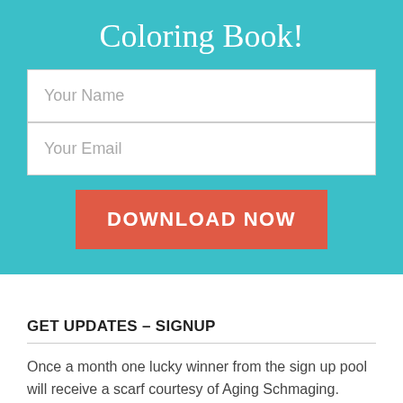Coloring Book!
[Figure (other): Sign-up form with Your Name and Your Email input fields and a DOWNLOAD NOW button on a teal background]
GET UPDATES – SIGNUP
Once a month one lucky winner from the sign up pool will receive a scarf courtesy of Aging Schmaging. Good luck!